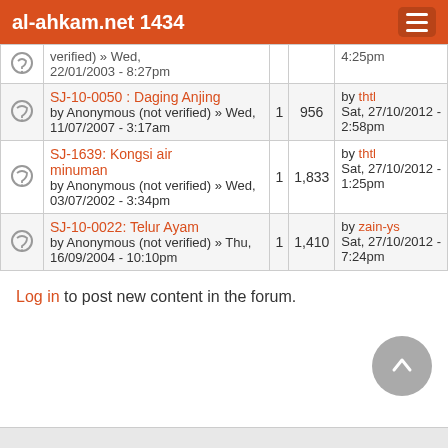al-ahkam.net 1434
|  | Topic | Replies | Views | Last post |
| --- | --- | --- | --- | --- |
|  | verified) » Wed, 22/01/2003 - 8:27pm |  |  | 4:25pm |
|  | SJ-10-0050 : Daging Anjing by Anonymous (not verified) » Wed, 11/07/2007 - 3:17am | 1 | 956 | by thtl Sat, 27/10/2012 - 2:58pm |
|  | SJ-1639: Kongsi air minuman by Anonymous (not verified) » Wed, 03/07/2002 - 3:34pm | 1 | 1,833 | by thtl Sat, 27/10/2012 - 1:25pm |
|  | SJ-10-0022: Telur Ayam by Anonymous (not verified) » Thu, 16/09/2004 - 10:10pm | 1 | 1,410 | by zain-ys Sat, 27/10/2012 - 7:24pm |
Log in to post new content in the forum.